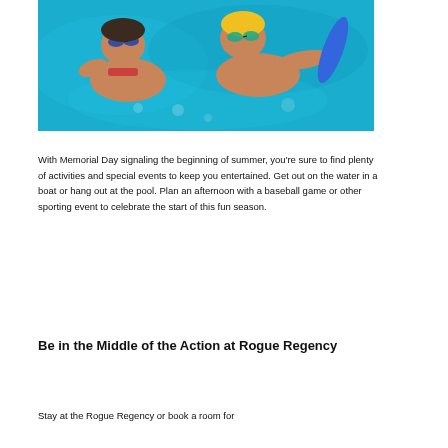[Figure (photo): Two children swimming in a pool wearing goggles; one child wears blue goggles and a red swimsuit, the other wears a yellow swim cap and teal goggles and holds a blue pool noodle.]
With Memorial Day signaling the beginning of summer, you're sure to find plenty of activities and special events to keep you entertained. Get out on the water in a boat or hang out at the pool. Plan an afternoon with a baseball game or other sporting event to celebrate the start of this fun season.
Be in the Middle of the Action at Rogue Regency
Stay at the Rogue Regency or book a room for